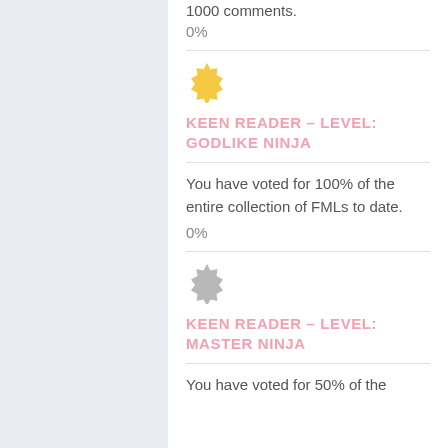1000 comments.
0%
[Figure (illustration): Gold/yellow gear/badge icon]
KEEN READER – LEVEL: GODLIKE NINJA
You have voted for 100% of the entire collection of FMLs to date.
0%
[Figure (illustration): Gray gear/badge icon]
KEEN READER – LEVEL: MASTER NINJA
You have voted for 50% of the